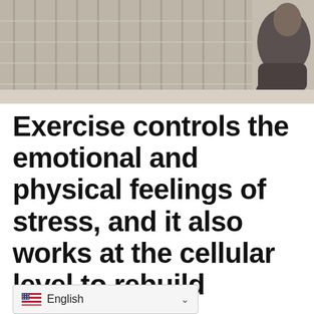[Figure (photo): Person in a meditation or yoga pose on a floor near slatted blinds/shutters, photographed from above/side angle. Neutral tones of grey, beige and wood.]
Exercise controls the emotional and physical feelings of stress, and it also works at the cellular level to rebuild neurons